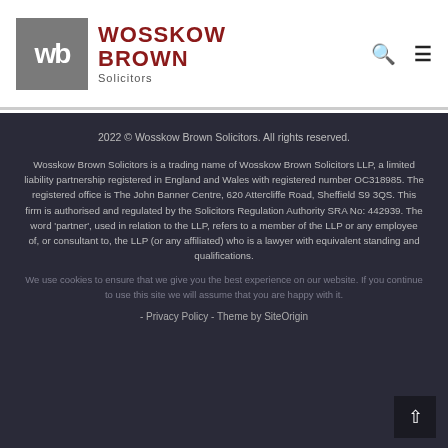[Figure (logo): Wosskow Brown Solicitors logo with grey 'wb' square icon and dark red text 'WOSSKOW BROWN Solicitors']
2022 © Wosskow Brown Solicitors. All rights reserved.
Wosskow Brown Solicitors is a trading name of Wosskow Brown Solicitors LLP, a limited liability partnership registered in England and Wales with registered number OC318985. The registered office is The John Banner Centre, 620 Attercliffe Road, Sheffield S9 3QS. This firm is authorised and regulated by the Solicitors Regulation Authority SRA No: 442939. The word 'partner', used in relation to the LLP, refers to a member of the LLP or any employee of, or consultant to, the LLP (or any affiliated) who is a lawyer with equivalent standing and qualifications.
We use cookies to ensure that we give you the best experience on our website. If you continue to use this site we will assume that you are happy with it.
- Privacy Policy - Theme by SiteOrigin